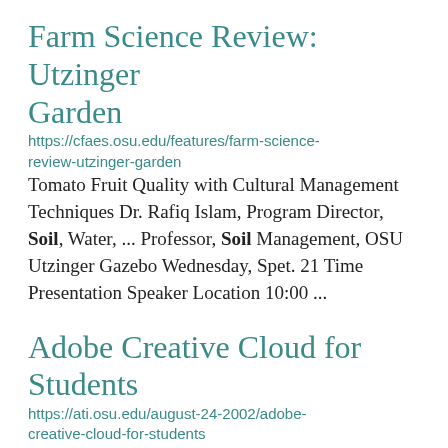Farm Science Review: Utzinger Garden
https://cfaes.osu.edu/features/farm-science-review-utzinger-garden
Tomato Fruit Quality with Cultural Management Techniques Dr. Rafiq Islam, Program Director, Soil, Water, ... Professor, Soil Management, OSU Utzinger Gazebo Wednesday, Spet. 21 Time Presentation Speaker Location 10:00  ...
Adobe Creative Cloud for Students
https://ati.osu.edu/august-24-2002/adobe-creative-cloud-for-students
the tools to create professional-level